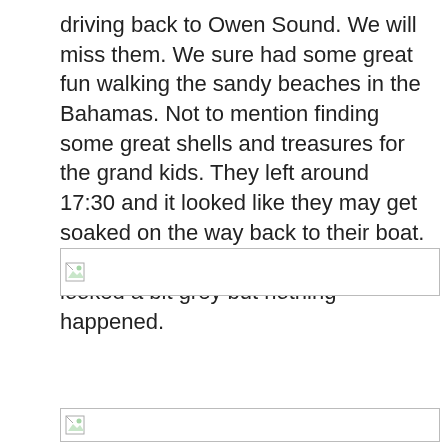driving back to Owen Sound. We will miss them. We sure had some great fun walking the sandy beaches in the Bahamas. Not to mention finding some great shells and treasures for the grand kids. They left around 17:30 and it looked like they may get soaked on the way back to their boat. The wind came up and the skies looked a bit grey but nothing happened.
[Figure (photo): Broken image placeholder 1]
[Figure (photo): Broken image placeholder 2]